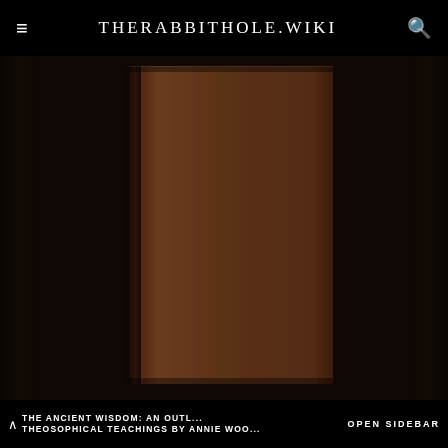THERABBITHOLE.WIKI
[Figure (photo): A dark brown hardcover book with no visible title on the cover, displayed against a dark background with blurred bookshelves on either side.]
THE ANCIENT WISDOM: AN OUTL... THEOSOPHICAL TEACHINGS BY ANNIE WOO...
OPEN SIDEBAR